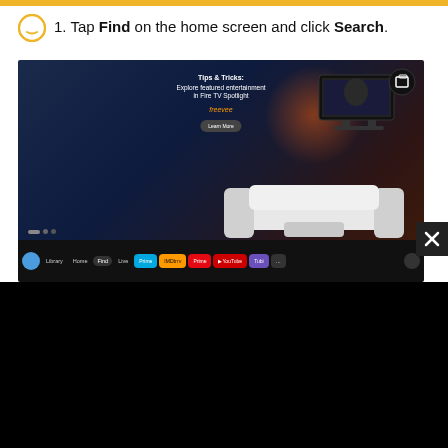1. Tap Find on the home screen and click Search.
[Figure (screenshot): Fire TV home screen showing Tips & Tricks banner: 'Explore featured entertainment in Fire TV Spotlight' with Amazon logo and Learn More button. Navigation bar at bottom shows Library, Home, Find (selected), Live, and various app icons.]
[Figure (screenshot): Black screen (TV input) showing a 'Source not found' error message with a red exclamation icon on the left.]